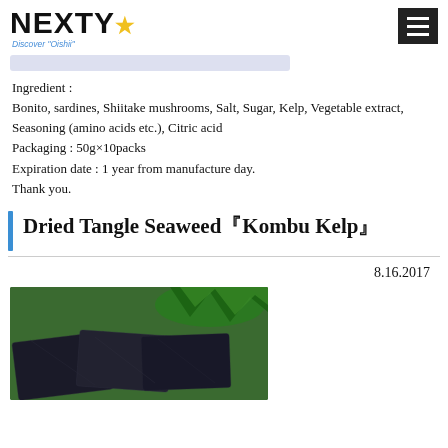NEXTY - Discover 'Oishii'
[Figure (photo): Search bar placeholder]
Ingredient :
Bonito, sardines, Shiitake mushrooms, Salt, Sugar, Kelp, Vegetable extract, Seasoning (amino acids etc.), Citric acid
Packaging : 50g×10packs
Expiration date : 1 year from manufacture day.
Thank you.
Dried Tangle Seaweed『Kombu Kelp』
8.16.2017
[Figure (photo): Photo of dried tangle seaweed (kombu kelp) — dark thick pieces of dried kombu arranged on a plate with green garnish]